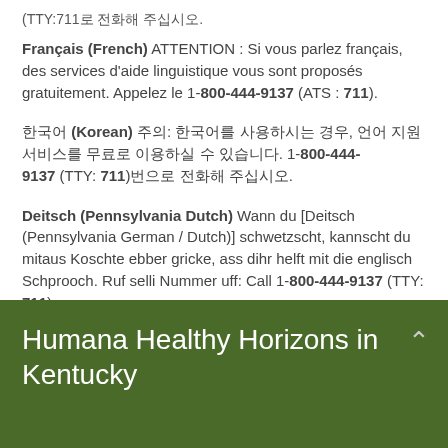(TTY:711…)
Français (French) ATTENTION : Si vous parlez français, des services d'aide linguistique vous sont proposés gratuitement. Appelez le 1-800-444-9137 (ATS : 711).
한국어 (Korean) 주의: 한국어를 사용하시는 경우, 언어 지원 서비스를 무료로 이용하실 수 있습니다. 1-800-444-9137 (TTY: 711)번으로 전화해 주십시오.
Deitsch (Pennsylvania Dutch) Wann du [Deitsch (Pennsylvania German / Dutch)] schwetzscht, kannscht du mitaus Koschte ebber gricke, ass dihr helft mit die englisch Schprooch. Ruf selli Nummer uff: Call 1-800-444-9137 (TTY: 711).
Humana Healthy Horizons in Kentucky